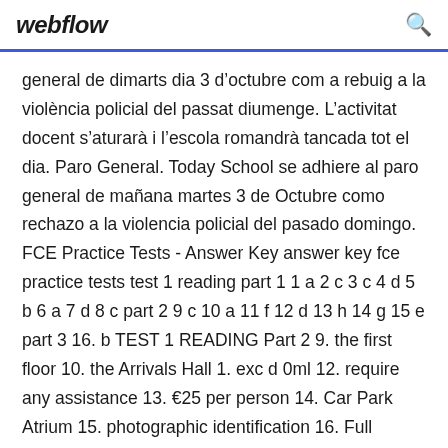webflow
general de dimarts dia 3 d'octubre com a rebuig a la violència policial del passat diumenge. L'activitat docent s'aturarà i l'escola romandrà tancada tot el dia. Paro General. Today School se adhiere al paro general de mañana martes 3 de Octubre como rechazo a la violencia policial del pasado domingo. FCE Practice Tests - Answer Key answer key fce practice tests test 1 reading part 1 1 a 2 c 3 c 4 d 5 b 6 a 7 d 8 c part 2 9 c 10 a 11 f 12 d 13 h 14 g 15 e part 3 16. b TEST 1 READING Part 2 9. the first floor 10. the Arrivals Hall 1. exc d 0ml 12. require any assistance 13. €25 per person 14. Car Park Atrium 15. photographic identification 16. Full English breakfast 17. 10 km north 18. over